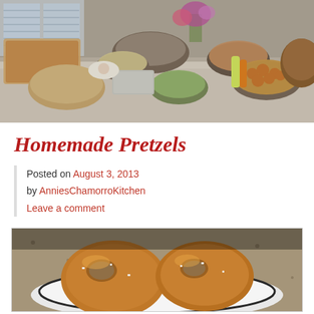[Figure (photo): A large buffet table spread with many dishes of food including casseroles, salads, fried items, and a roasted turkey, photographed from an angle showing the full table length]
Homemade Pretzels
Posted on August 3, 2013 by AnniesChamorroKitchen Leave a comment
[Figure (photo): Close-up photo of homemade golden-brown pretzels on a plate, showing their twisted shape with a shiny egg-washed surface and coarse salt]